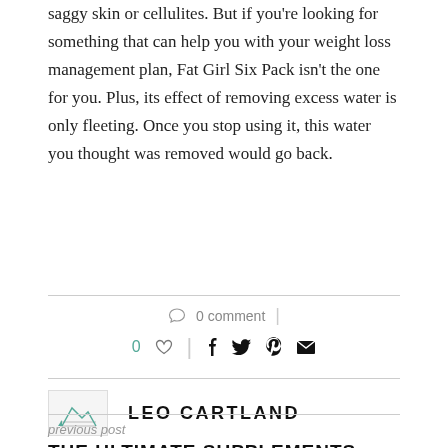saggy skin or cellulites. But if you're looking for something that can help you with your weight loss management plan, Fat Girl Six Pack isn't the one for you. Plus, its effect of removing excess water is only fleeting. Once you stop using it, this water you thought was removed would go back.
0 comment
0 ♡  |  f  t  p  ✉
LEO CARTLAND
previous post
THE ULTIMATE SUPPLEMENTS FOR PEOPLE